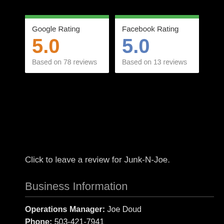[Figure (infographic): Google Rating card with green top bar, score 5.0 in orange, based on 78 reviews]
[Figure (infographic): Facebook Rating card with green top bar, score 5.0 in blue, based on 13 reviews]
Click to leave a review for Junk-N-Joe.
Business Information
Operations Manager: Joe Doud
Phone: 503-421-7941
Office Manager: Gloria Eggers